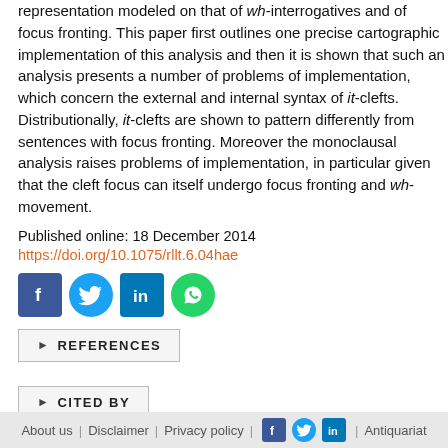representation modeled on that of wh-interrogatives and of focus fronting. This paper first outlines one precise cartographic implementation of this analysis and then it is shown that such an analysis presents a number of problems of implementation, which concern the external and internal syntax of it-clefts. Distributionally, it-clefts are shown to pattern differently from sentences with focus fronting. Moreover the monoclausal analysis raises problems of implementation, in particular given that the cleft focus can itself undergo focus fronting and wh-movement.
Published online: 18 December 2014
https://doi.org/10.1075/rllt.6.04hae
[Figure (other): Social media share icons: Facebook, Twitter, LinkedIn, WhatsApp]
▶ REFERENCES
▶ CITED BY
About us | Disclaimer | Privacy policy | [Facebook icon] [Twitter icon] [LinkedIn icon] | Antiquariat